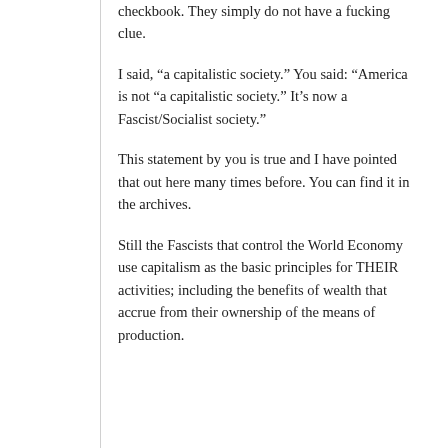checkbook. They simply do not have a fucking clue.
I said, “a capitalistic society.” You said: “America is not “a capitalistic society.” It’s now a Fascist/Socialist society.”
This statement by you is true and I have pointed that out here many times before. You can find it in the archives.
Still the Fascists that control the World Economy use capitalism as the basic principles for THEIR activities; including the benefits of wealth that accrue from their ownership of the means of production.